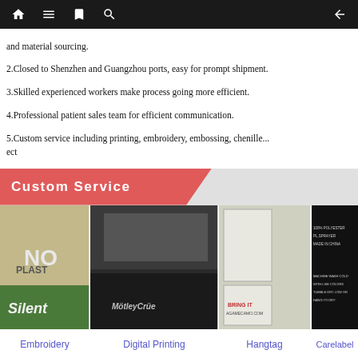[navigation bar with home, menu, bookmarks, search, back icons]
and material sourcing.
2.Closed to Shenzhen and Guangzhou ports, easy for prompt shipment.
3.Skilled experienced workers make process going more efficient.
4.Professional patient sales team for efficient communication.
5.Custom service including printing, embroidery, embossing, chenille... ect
Custom Service
[Figure (photo): Four product images side by side: embroidery patches, digital printing on shirts, hangtags, and care labels. Labels below: Embroidery, Digital Printing, Hangtag, Carelabel]
FAQ
Q1: What custom service you provide?
A1: Customized logos, tags, labels and customized trims are